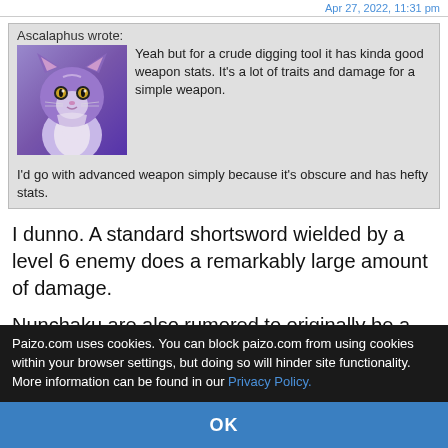Apr 27, 2022, 11:31 pm
Ascalaphus wrote:
[Figure (illustration): Purple cat-like fantasy creature avatar with golden eyes and white markings]
Yeah but for a crude digging tool it has kinda good weapon stats. It's a lot of traits and damage for a simple weapon.
I'd go with advanced weapon simply because it's obscure and has hefty stats.
I dunno. A standard shortsword wielded by a level 6 enemy does a remarkably large amount of damage.
Nunchaku are also rumored to originally be a farming tool.
Obscurity of the item would increase the access trait up to Uncommon or Rare, but not necessarily the proficiency category.
Paizo.com uses cookies. You can block paizo.com from using cookies within your browser settings, but doing so will hinder site functionality. More information can be found in our Privacy Policy.
OK